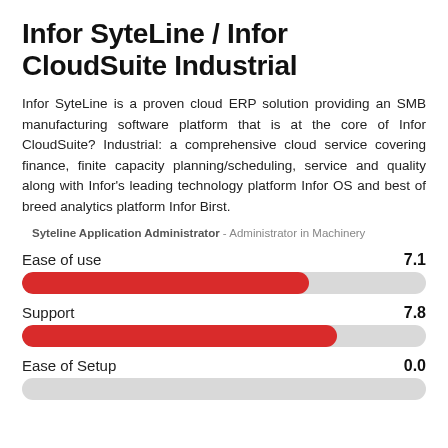Infor SyteLine / Infor CloudSuite Industrial
Infor SyteLine is a proven cloud ERP solution providing an SMB manufacturing software platform that is at the core of Infor CloudSuite? Industrial: a comprehensive cloud service covering finance, finite capacity planning/scheduling, service and quality along with Infor's leading technology platform Infor OS and best of breed analytics platform Infor Birst.
Syteline Application Administrator - Administrator in Machinery
[Figure (bar-chart): Ease of use]